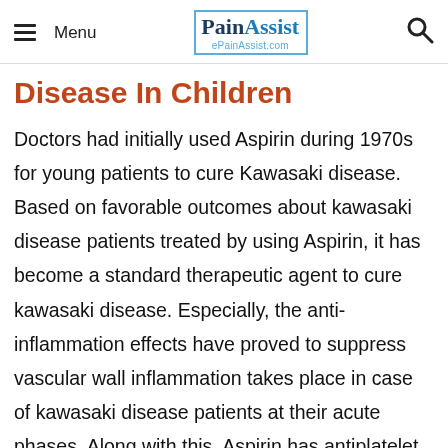Menu | PainAssist ePainAssist.com
Disease In Children
Doctors had initially used Aspirin during 1970s for young patients to cure Kawasaki disease. Based on favorable outcomes about kawasaki disease patients treated by using Aspirin, it has become a standard therapeutic agent to cure kawasaki disease. Especially, the anti-inflammation effects have proved to suppress vascular wall inflammation takes place in case of kawasaki disease patients at their acute phases. Along with this, Aspirin has antiplatelet effects to cure endothelial dysfunction and avoid the clot